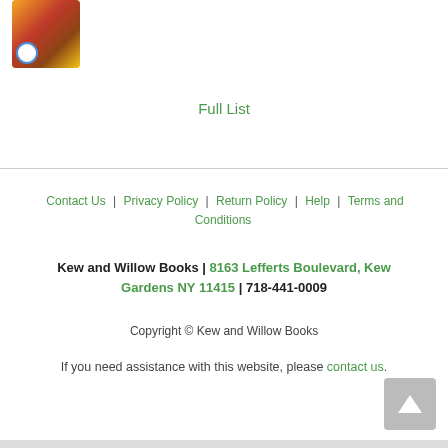[Figure (illustration): Book cover thumbnail image with yellow background and illustrated figures]
Full List
Contact Us | Privacy Policy | Return Policy | Help | Terms and Conditions
Kew and Willow Books | 8163 Lefferts Boulevard, Kew Gardens NY 11415 | 718-441-0009
Copyright © Kew and Willow Books
If you need assistance with this website, please contact us.